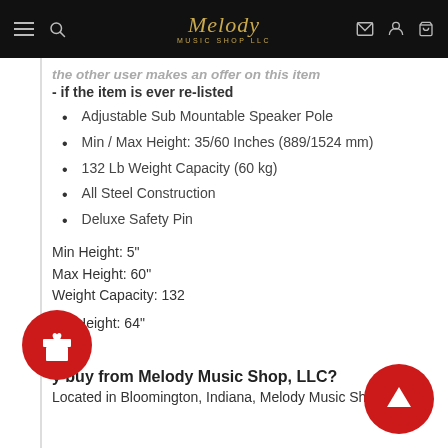Melody Music Shop LLC
the other user makes an offer on this item - if the item is ever re-listed
Adjustable Sub Mountable Speaker Pole
Min / Max Height: 35/60 Inches (889/1524 mm)
132 Lb Weight Capacity (60 kg)
All Steel Construction
Deluxe Safety Pin
Min Height: 5"
Max Height: 60"
Weight Capacity: 132
Ext Height: 64"
t: 3lbs
y buy from Melody Music Shop, LLC?
Located in Bloomington, Indiana, Melody Music Shop